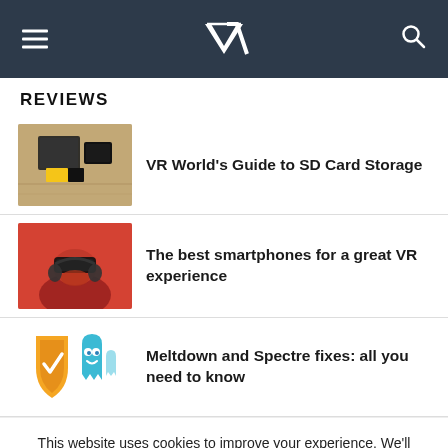VR World navigation header with logo, hamburger menu, and search icon
REVIEWS
[Figure (photo): Photo of SD cards and memory cards on a wooden surface]
VR World's Guide to SD Card Storage
[Figure (photo): Person wearing a red VR headset with headphones, lit in red]
The best smartphones for a great VR experience
[Figure (illustration): Orange shield security logo and blue ghost mascot illustration (Meltdown and Spectre)]
Meltdown and Spectre fixes: all you need to know
This website uses cookies to improve your experience. We'll assume you're ok with this, but you can opt-out if you wish.
Accept
Read More